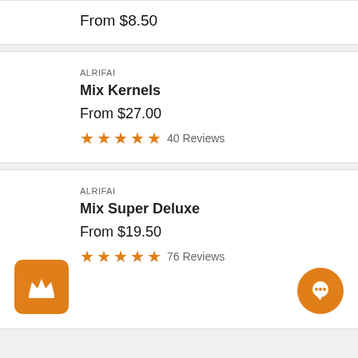From $8.50
ALRIFAI
Mix Kernels
From $27.00
40 Reviews
ALRIFAI
Mix Super Deluxe
From $19.50
76 Reviews